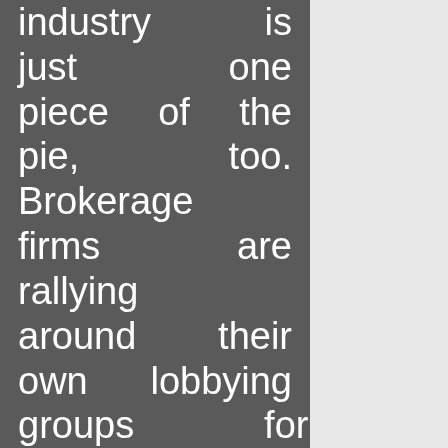industry is just one piece of the pie, too. Brokerage firms are rallying around their own lobbying groups for special consideration in the new regulations. Morgan Stanley